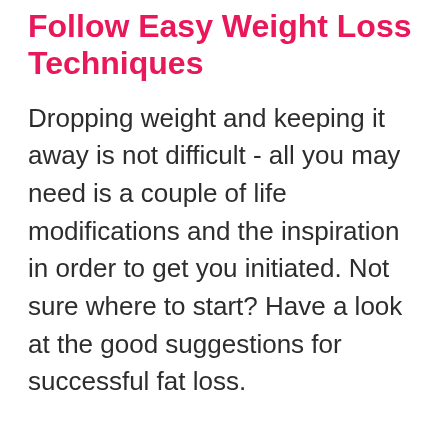Follow Easy Weight Loss Techniques
Dropping weight and keeping it away is not difficult - all you may need is a couple of life modifications and the inspiration in order to get you initiated. Not sure where to start? Have a look at the good suggestions for successful fat loss.